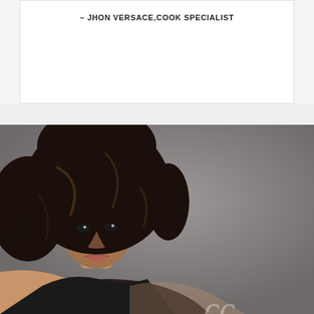– JHON VERSACE,COOK SPECIALIST
[Figure (photo): Fashion portrait of a young woman with voluminous curly dark hair, wearing a black outfit, photographed against a gray studio background]
66
Our fashion style is very legendary and very classic I feel like it's different, and I feel like everybody